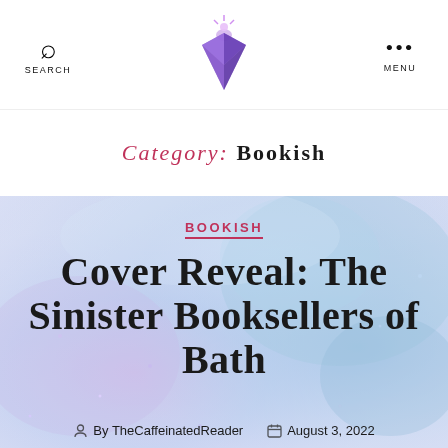SEARCH | [Logo] | MENU
Category: Bookish
[Figure (illustration): Watercolor background in blue, purple and lavender tones with a soft abstract texture. Overlay text content for a blog post card.]
BOOKISH
Cover Reveal: The Sinister Booksellers of Bath
By TheCaffeinatedReader   August 3, 2022